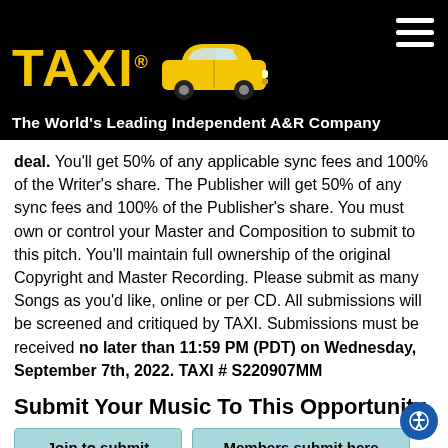[Figure (logo): TAXI logo with yellow text and yellow taxi car image on black background, with hamburger menu icon top right]
The World's Leading Independent A&R Company
deal. You'll get 50% of any applicable sync fees and 100% of the Writer's share. The Publisher will get 50% of any sync fees and 100% of the Publisher's share. You must own or control your Master and Composition to submit to this pitch. You'll maintain full ownership of the original Copyright and Master Recording. Please submit as many Songs as you'd like, online or per CD. All submissions will be screened and critiqued by TAXI. Submissions must be received no later than 11:59 PM (PDT) on Wednesday, September 7th, 2022. TAXI # S220907MM
Submit Your Music To This Opportunity
Join to submit
Members submit here
Renew your membership